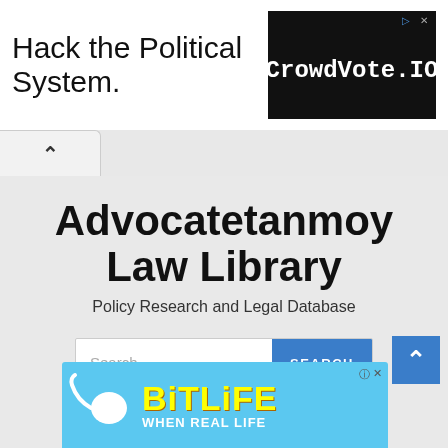[Figure (screenshot): Top advertisement banner with text 'Hack the Political System.' on the left and a dark CrowdVote.IO logo box on the right]
[Figure (screenshot): Navigation tab with an up caret arrow]
Advocatetanmoy Law Library
Policy Research and Legal Database
[Figure (screenshot): Search bar with placeholder 'Search ...' and a blue SEARCH button]
[Figure (screenshot): Bottom advertisement for BitLife with sperm cell illustration and yellow BitLife logo text, with WHEN REAL LIFE subtitle]
[Figure (screenshot): Blue scroll-to-top button with up arrow in bottom right]